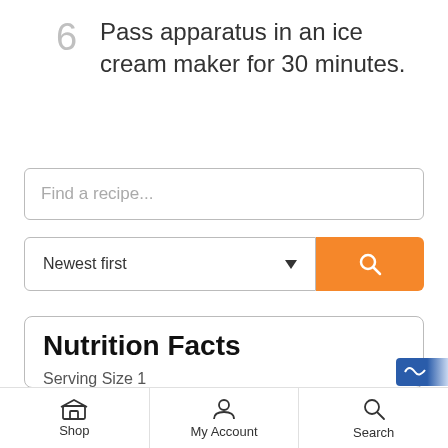6  Pass apparatus in an ice cream maker for 30 minutes.
Find a recipe...
Newest first
Nutrition Facts
Serving Size 1
Servings 4
Shop  My Account  Search